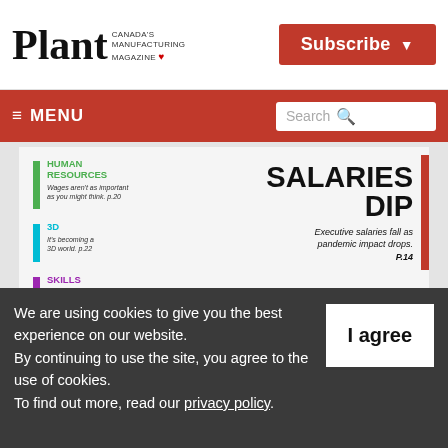Plant — Canada's Manufacturing Magazine | Subscribe
≡ MENU | Search
[Figure (screenshot): Plant magazine cover showing 'SALARIES DIP' headline with descending staircase of Canadian money bills and red curved arrow pointing down. Sections listed: Human Resources, 3D, Skills Development.]
We are using cookies to give you the best experience on our website.
By continuing to use the site, you agree to the use of cookies.
To find out more, read our privacy policy.